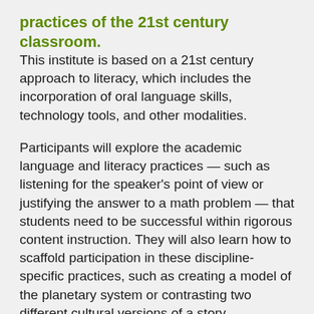practices of the 21st century classroom.
This institute is based on a 21st century approach to literacy, which includes the incorporation of oral language skills, technology tools, and other modalities.
Participants will explore the academic language and literacy practices — such as listening for the speaker's point of view or justifying the answer to a math problem — that students need to be successful within rigorous content instruction. They will also learn how to scaffold participation in these discipline-specific practices, such as creating a model of the planetary system or contrasting two different cultural versions of a story.